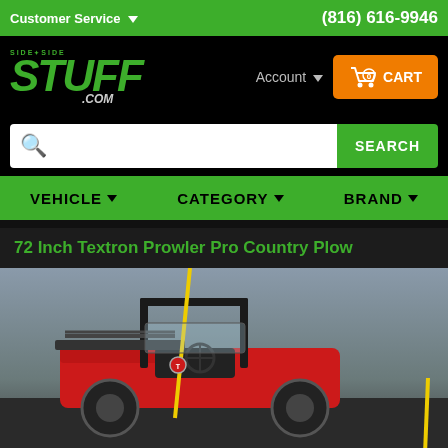Customer Service ▾   (816) 616-9946
[Figure (logo): Side by Side Stuff .com logo in green graffiti style on black background]
Account ▾
0 CART
Search input with SEARCH button
VEHICLE ▾   CATEGORY ▾   BRAND ▾
72 Inch Textron Prowler Pro Country Plow
[Figure (photo): Photo of a red Textron Prowler Pro UTV with a country plow attached, shown at an angle with yellow marker poles visible]